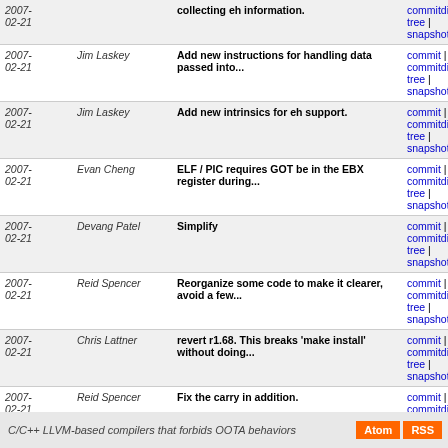| Date | Author | Message | Links |
| --- | --- | --- | --- |
| 2007-02-21 |  | collecting eh information. | commitdiff | tree | snapshot |
| 2007-02-21 | Jim Laskey | Add new instructions for handling data passed into... | commit | commitdiff | tree | snapshot |
| 2007-02-21 | Jim Laskey | Add new intrinsics for eh support. | commit | commitdiff | tree | snapshot |
| 2007-02-21 | Evan Cheng | ELF / PIC requires GOT be in the EBX register during... | commit | commitdiff | tree | snapshot |
| 2007-02-21 | Devang Patel | Simplify | commit | commitdiff | tree | snapshot |
| 2007-02-21 | Reid Spencer | Reorganize some code to make it clearer, avoid a few... | commit | commitdiff | tree | snapshot |
| 2007-02-21 | Chris Lattner | revert r1.68. This breaks 'make install' without doing... | commit | commitdiff | tree | snapshot |
| 2007-02-21 | Reid Spencer | Fix the carry in addition. | commit | commitdiff | tree | snapshot |
| 2007-02-21 | Reid Spencer | Add a dump() method for debugging. | commit | commitdiff | tree | snapshot |
next
C/C++ LLVM-based compilers that forbids OOTA behaviors  Atom  RSS